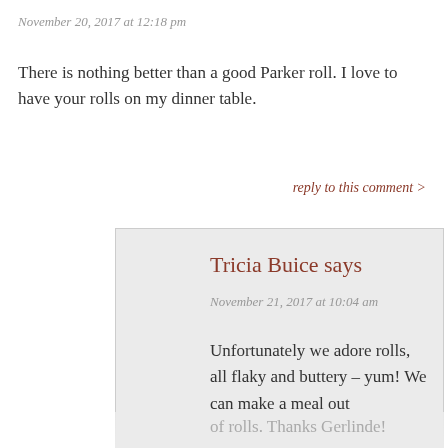November 20, 2017 at 12:18 pm
There is nothing better than a good Parker roll. I love to have your rolls on my dinner table.
reply to this comment >
Tricia Buice says
November 21, 2017 at 10:04 am
Unfortunately we adore rolls, all flaky and buttery – yum! We can make a meal out of rolls. Thanks Gerlinde!